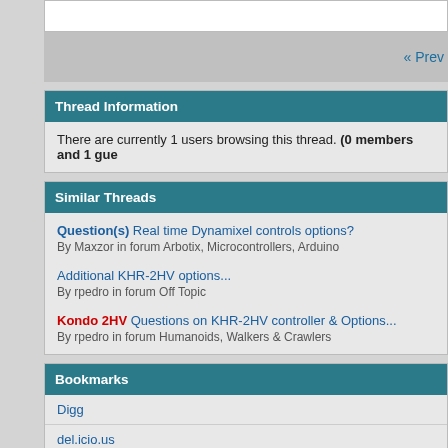Thread Information
There are currently 1 users browsing this thread. (0 members and 1 gue...
Similar Threads
Question(s) Real time Dynamixel controls options?
By Maxzor in forum Arbotix, Microcontrollers, Arduino
Additional KHR-2HV options...
By rpedro in forum Off Topic
Kondo 2HV Questions on KHR-2HV controller & Options...
By rpedro in forum Humanoids, Walkers & Crawlers
Bookmarks
Digg
del.icio.us
StumbleUpon
Slashdot